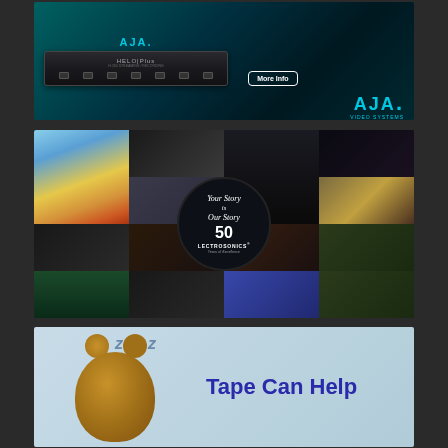[Figure (photo): AJA Video Systems advertisement featuring the HELO Plus streaming/recording device on a dark teal background with a 'More Info' button and AJA VIDEO SYSTEMS logo]
[Figure (photo): Lectrosonics 50th anniversary advertisement with a photo collage grid showing various users (hot air balloon, camera operator, woman with headphones, sports, military, etc.) and a circular badge in the center reading 'Your Story is Our Story 50 Lectrosonics Years of Excellence']
[Figure (photo): Advertisement featuring a sleeping teddy bear with ZZZ text on a light blue background and the text 'Tape Can Help' in bold dark blue on the right side]